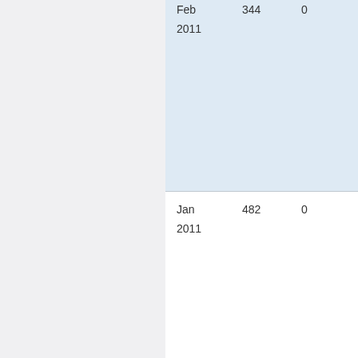| Month/Year | Value1 | Value2 |
| --- | --- | --- |
| Feb 2011 | 344 | 0 |
| Jan 2011 | 482 | 0 |